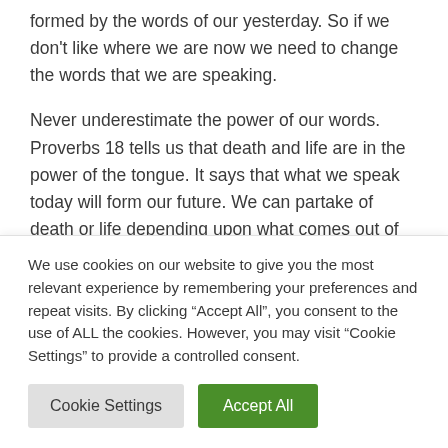formed by the words of our yesterday. So if we don't like where we are now we need to change the words that we are speaking.
Never underestimate the power of our words. Proverbs 18 tells us that death and life are in the power of the tongue. It says that what we speak today will form our future. We can partake of death or life depending upon what comes out of our mouths. Speaking words of life about our future, will always take us to the very best destination
We use cookies on our website to give you the most relevant experience by remembering your preferences and repeat visits. By clicking “Accept All”, you consent to the use of ALL the cookies. However, you may visit “Cookie Settings” to provide a controlled consent.
Cookie Settings
Accept All